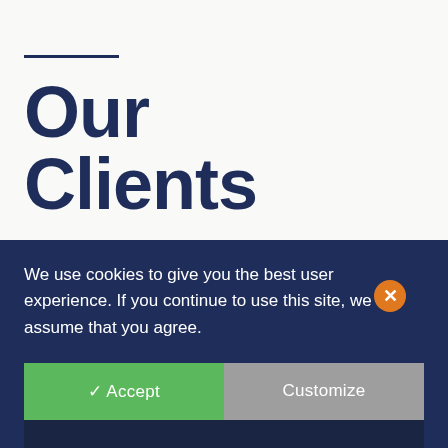Our Clients
[Figure (illustration): Partial circle/ring graphic visible in the lower right background area of the page]
We use cookies to give you the best user experience. If you continue to use this site, we assume that you agree.
✓ Accept
Customize